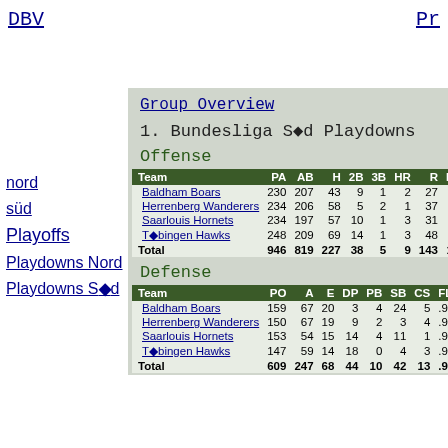DBV  |  Pr...
Group Overview
1. Bundesliga Süd Playdowns
Offense
| Team | PA | AB | H | 2B | 3B | HR | R | RBI |
| --- | --- | --- | --- | --- | --- | --- | --- | --- |
| Baldham Boars | 230 | 207 | 43 | 9 | 1 | 2 | 27 | 18 |
| Herrenberg Wanderers | 234 | 206 | 58 | 5 | 2 | 1 | 37 | 29 |
| Saarlouis Hornets | 234 | 197 | 57 | 10 | 1 | 3 | 31 | 24 |
| Tübingen Hawks | 248 | 209 | 69 | 14 | 1 | 3 | 48 | 41 |
| Total | 946 | 819 | 227 | 38 | 5 | 9 | 143 | 112 |
Defense
| Team | PO | A | E | DP | PB | SB | CS | FLD | G |
| --- | --- | --- | --- | --- | --- | --- | --- | --- | --- |
| Baldham Boars | 159 | 67 | 20 | 3 | 4 | 24 | 5 | .919 | ... |
| Herrenberg Wanderers | 150 | 67 | 19 | 9 | 2 | 3 | 4 | .919 | ... |
| Saarlouis Hornets | 153 | 54 | 15 | 14 | 4 | 11 | 1 | .932 | ... |
| Tübingen Hawks | 147 | 59 | 14 | 18 | 0 | 4 | 3 | .936 | ... |
| Total | 609 | 247 | 68 | 44 | 10 | 42 | 13 | .926 | ... |
nord
süd
Playoffs
Playdowns Nord
Playdowns Süd